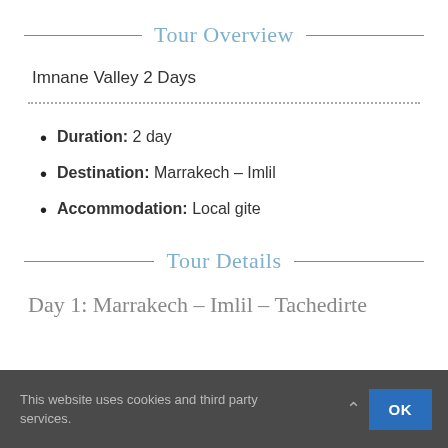Tour Overview
Imnane Valley 2 Days
Duration: 2 day
Destination: Marrakech – Imlil
Accommodation: Local gite
Tour Details
Day 1: Marrakech – Imlil – Tachedirte
This website uses cookies and third party services.